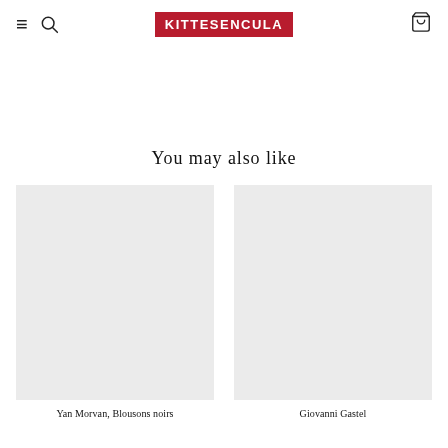KITTESENCULA
You may also like
[Figure (photo): Product image placeholder (light grey rectangle) for Yan Morvan, Blousons noirs]
Yan Morvan, Blousons noirs
[Figure (photo): Product image placeholder (light grey rectangle) for Giovanni Gastel]
Giovanni Gastel